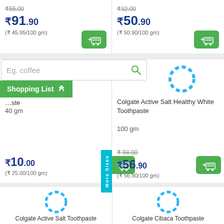₹55.00 (strikethrough)
₹91.90 (₹45.95/100 gm)
₹32.00 (strikethrough)
₹50.90 (₹50.90/100 gm)
Eg. coffee
Shopping List
ste 40 gm
Colgate Active Salt Healthy White Toothpaste 100 gm
More Sizes
₹10.00 (₹25.00/100 gm)
₹58.00 (strikethrough)
₹56.90 (₹56.90/100 gm)
Colgate Active Salt Toothpaste
Colgate Cibaca Toothpaste